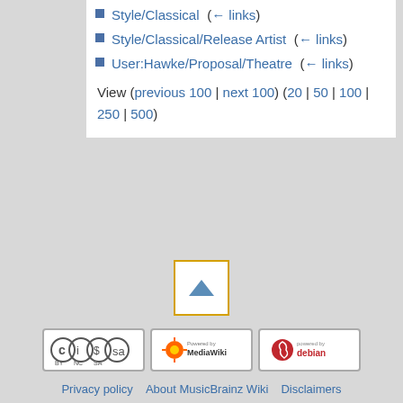Style/Classical  (← links)
Style/Classical/Release Artist  (← links)
User:Hawke/Proposal/Theatre  (← links)
View (previous 100 | next 100) (20 | 50 | 100 | 250 | 500)
[Figure (other): Scroll to top button with upward arrow]
[Figure (logo): Creative Commons BY-NC-SA license badge]
[Figure (logo): Powered by MediaWiki badge]
[Figure (logo): Powered by Debian badge]
Privacy policy   About MusicBrainz Wiki   Disclaimers